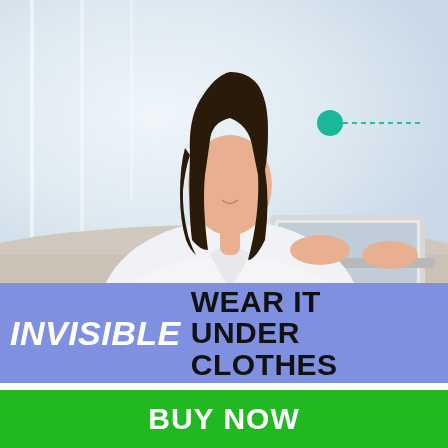[Figure (photo): Woman in white shirt sitting at desk working on a laptop, bright airy office background. A teal circular dot with a dashed line annotation pointing to her shoulder area is overlaid on the image.]
INVISIBLE WEAR IT UNDER CLOTHES
Breathable Materials: Ultra-soft and adjustable.
BUY NOW